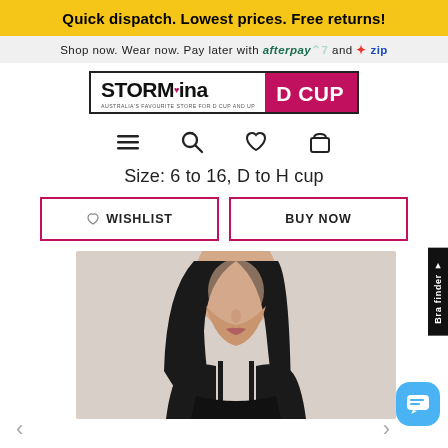Quick dispatch. Lowest prices. Free returns!
Shop now. Wear now. Pay later with afterpay and zip
[Figure (logo): Storm in a D Cup logo — left white section with 'STORMina' text and tagline 'Australia's Favourite Store for D Cup and Up', right magenta section with 'D CUP' text]
[Figure (infographic): Navigation icons: hamburger menu, search magnifier, heart/wishlist, shopping bag]
Size: 6 to 16, D to H cup
WISHLIST
BUY NOW
[Figure (photo): Model wearing a black bra, cropped to show face and upper torso, light grey background]
Bra finder